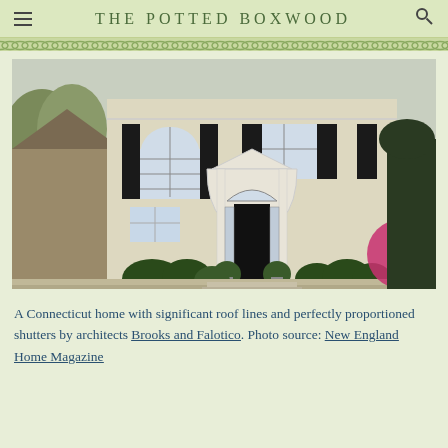THE POTTED BOXWOOD
[Figure (photo): A Connecticut home exterior with cream/white siding, black shutters, arched front door portico with columns, decorative fanlight, boxwood plantings along the foundation, and flowering azaleas on the right side.]
A Connecticut home with significant roof lines and perfectly proportioned shutters by architects Brooks and Falotico. Photo source: New England Home Magazine